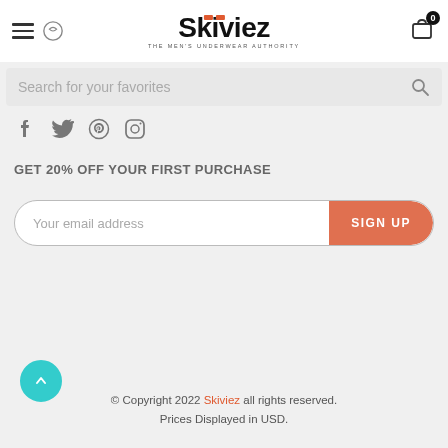[Figure (logo): Skiviez logo with tagline 'THE MEN'S UNDERWEAR AUTHORITY']
[Figure (screenshot): Search bar with placeholder text 'Search for your favorites' and magnifier icon]
[Figure (infographic): Social media icons row: Facebook, Twitter, Pinterest, Instagram]
GET 20% OFF YOUR FIRST PURCHASE
[Figure (screenshot): Email signup field with placeholder 'Your email address' and orange SIGN UP button]
© Copyright 2022 Skiviez all rights reserved. Prices Displayed in USD.